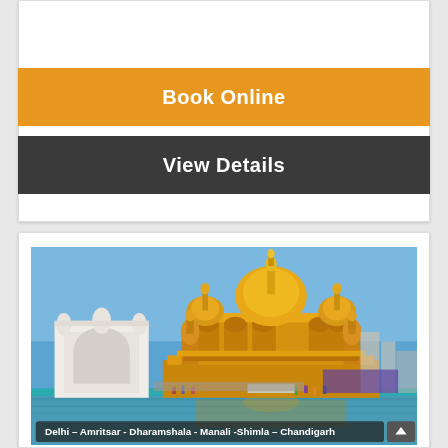[Figure (other): Orange button labeled Book Online and dark gray button labeled View Details in a white card]
Book Online
View Details
[Figure (photo): Photo of the Golden Temple (Harmandir Sahib) in Amritsar with blue sky and water in foreground]
Delhi – Amritsar - Dharamshala - Manali -Shimla – Chandigarh